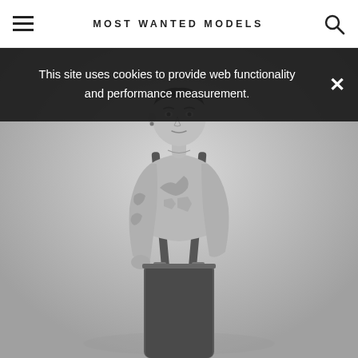MOST WANTED MODELS
This site uses cookies to provide web functionality and performance measurement.
[Figure (photo): Black and white photograph of a young male model with tattoos, shirtless, wearing open overalls, standing against a light grey background]